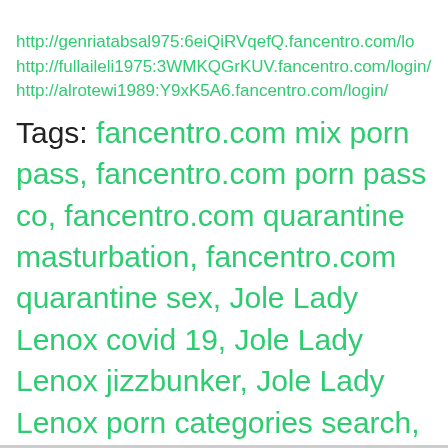http://genriatabsal975:6eiQiRVqefQ.fancentro.com/lo
http://fullaileli1975:3WMKQGrKUV.fancentro.com/login/
http://alrotewi1989:Y9xK5A6.fancentro.com/login/
Tags: fancentro.com mix porn pass, fancentro.com porn pass co, fancentro.com quarantine masturbation, fancentro.com quarantine sex, Jole Lady Lenox covid 19, Jole Lady Lenox jizzbunker, Jole Lady Lenox porn categories search, Jole Lady Lenox porn password forums reviews